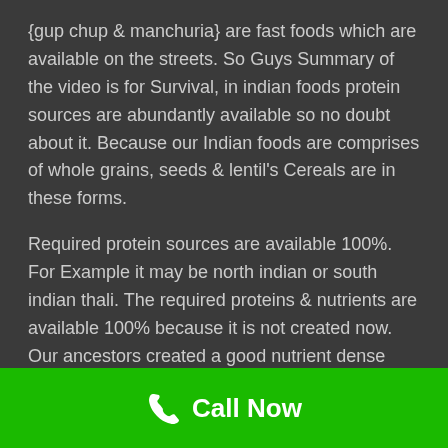{gup chup & manchuria} are fast foods which are available on the streets. So Guys Summary of the video is for Survival, in indian foods protein sources are abundantly available so no doubt about it. Because our Indian foods are comprises of whole grains, seeds & lentil's Cereals are in these forms.
Required protein sources are available 100%. For Example it may be north indian or south indian thali. The required proteins & nutrients are available 100% because it is not created now. Our ancestors created a good nutrient dense foods into a thali if we eat it Dont keep any misconceptions like fat gain & muscle gain
Call Now